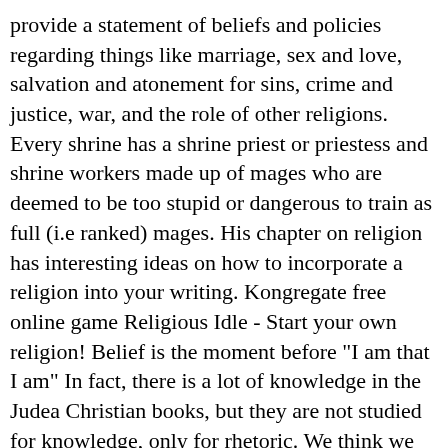provide a statement of beliefs and policies regarding things like marriage, sex and love, salvation and atonement for sins, crime and justice, war, and the role of other religions. Every shrine has a shrine priest or priestess and shrine workers made up of mages who are deemed to be too stupid or dangerous to train as full (i.e ranked) mages. His chapter on religion has interesting ideas on how to incorporate a religion into your writing. Kongregate free online game Religious Idle - Start your own religion! Belief is the moment before "I am that I am" In fact, there is a lot of knowledge in the Judea Christian books, but they are not studied for knowledge, only for rhetoric. We think we don't know... because we cannot say it. If the subject of your scientific enquiry is a deity or magic, it is still science. Consistency is by no means a necessity for fictional religions.
Twin of Neiveren. Honestly, I'd like to see the return to strict adherence to Christianity. He/She/IT/They are the guiding force